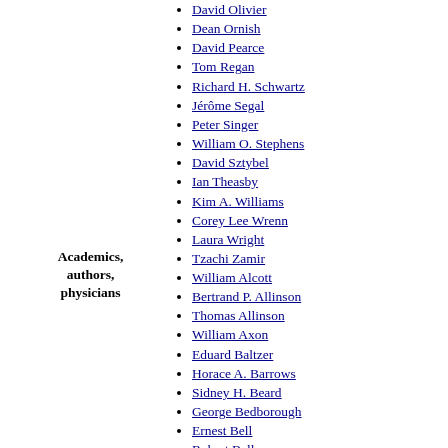David Olivier
Dean Ornish
David Pearce
Tom Regan
Richard H. Schwartz
Jérôme Segal
Peter Singer
William O. Stephens
David Sztybel
Ian Theasby
Kim A. Williams
Corey Lee Wrenn
Laura Wright
Tzachi Zamir
Academics, authors, physicians
William Alcott
Bertrand P. Allinson
Thomas Allinson
William Axon
Eduard Baltzer
Horace A. Barrows
Sidney H. Beard
George Bedborough
Ernest Bell
Robert Bell